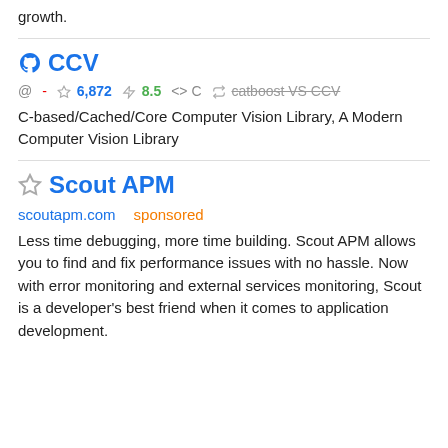growth.
CCV
@ -  ☆ 6,872  ⚡ 8.5  <> C  ⇄ catboost VS CCV
C-based/Cached/Core Computer Vision Library, A Modern Computer Vision Library
Scout APM
scoutapm.com   sponsored
Less time debugging, more time building. Scout APM allows you to find and fix performance issues with no hassle. Now with error monitoring and external services monitoring, Scout is a developer's best friend when it comes to application development.